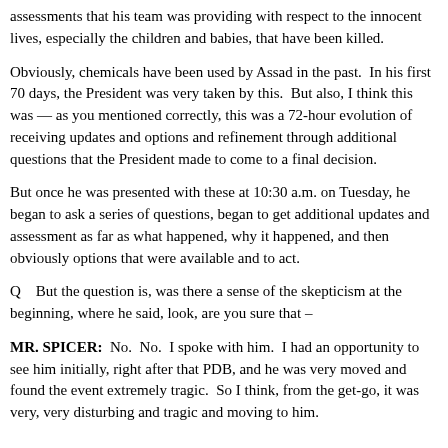assessments that his team was providing with respect to the innocent lives, especially the children and babies, that have been killed.
Obviously, chemicals have been used by Assad in the past. In his first 70 days, the President was very taken by this. But also, I think this was — as you mentioned correctly, this was a 72-hour evolution of receiving updates and options and refinement through additional questions that the President made to come to a final decision.
But once he was presented with these at 10:30 a.m. on Tuesday, he began to ask a series of questions, began to get additional updates and assessment as far as what happened, why it happened, and then obviously options that were available and to act.
Q   But the question is, was there a sense of the skepticism at the beginning, where he said, look, are you sure that –
MR. SPICER: No. No. I spoke with him. I had an opportunity to see him initially, right after that PDB, and he was very moved and found the event extremely tragic. So I think, from the get-go, it was very, very disturbing and tragic and moving to him.